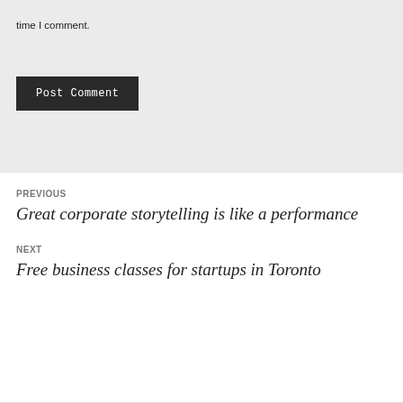time I comment.
Post Comment
PREVIOUS
Great corporate storytelling is like a performance
NEXT
Free business classes for startups in Toronto